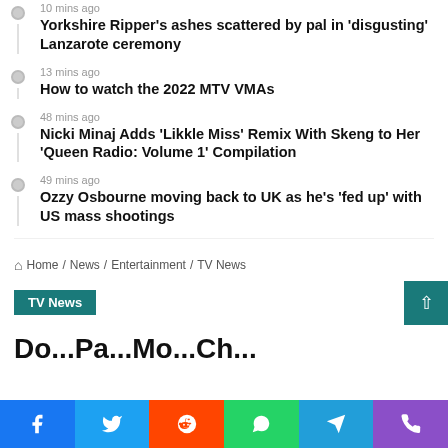10 mins ago
Yorkshire Ripper's ashes scattered by pal in 'disgusting' Lanzarote ceremony
13 mins ago
How to watch the 2022 MTV VMAs
48 mins ago
Nicki Minaj Adds 'Likkle Miss' Remix With Skeng to Her 'Queen Radio: Volume 1' Compilation
49 mins ago
Ozzy Osbourne moving back to UK as he's 'fed up' with US mass shootings
Home / News / Entertainment / TV News
TV News
Do...Pa...Mo...Ch...